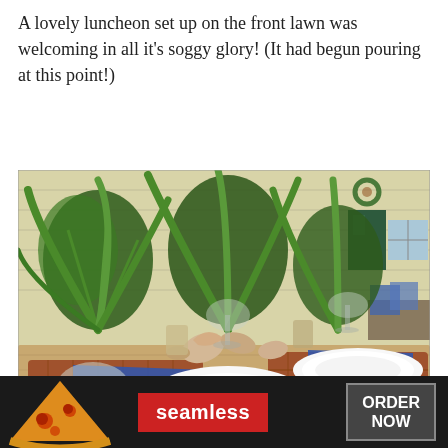A lovely luncheon set up on the front lawn was welcoming in all it's soggy glory! (It had begun pouring at this point!)
[Figure (photo): Outdoor luncheon table setting on a rainy day: wicker placemats, blue napkins, white plates, clear textured wine glasses, seashells, and tropical plant centerpieces on a burlap table runner, with a house visible in the background.]
[Figure (photo): Advertisement banner: Seamless food delivery ad with pizza image on the left, red Seamless logo in the center, and dark 'ORDER NOW' button on the right, with a 'CLOSE' button above.]